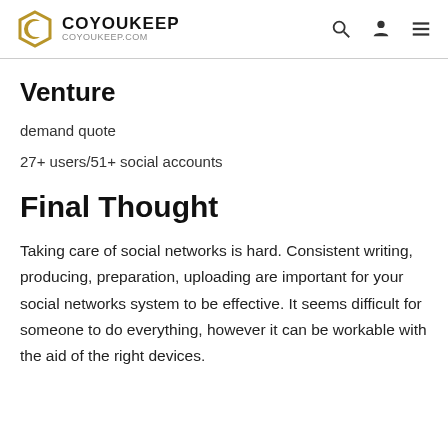COYOUKEEP COYOUKEEP.COM
Venture
demand quote
27+ users/51+ social accounts
Final Thought
Taking care of social networks is hard. Consistent writing, producing, preparation, uploading are important for your social networks system to be effective. It seems difficult for someone to do everything, however it can be workable with the aid of the right devices.